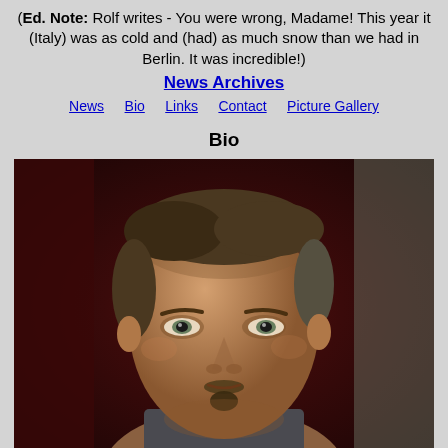(Ed. Note: Rolf writes - You were wrong, Madame! This year it (Italy) was as cold and (had) as much snow than we had in Berlin. It was incredible!)
News Archives
News   Bio   Links   Contact   Picture Gallery
Bio
[Figure (photo): Close-up portrait photo of a middle-aged man with short gray-brown hair, green eyes, and a goatee, against a dark reddish-brown background.]